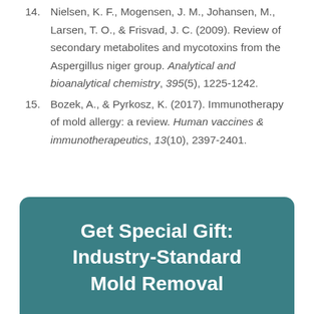14. Nielsen, K. F., Mogensen, J. M., Johansen, M., Larsen, T. O., & Frisvad, J. C. (2009). Review of secondary metabolites and mycotoxins from the Aspergillus niger group. Analytical and bioanalytical chemistry, 395(5), 1225-1242.
15. Bozek, A., & Pyrkosz, K. (2017). Immunotherapy of mold allergy: a review. Human vaccines & immunotherapeutics, 13(10), 2397-2401.
Get Special Gift: Industry-Standard Mold Removal